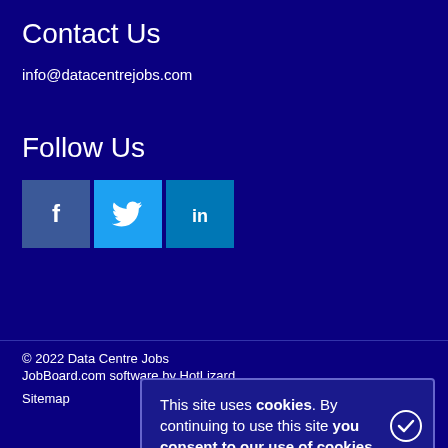Contact Us
info@datacentrejobs.com
Follow Us
[Figure (other): Social media icons: Facebook, Twitter, LinkedIn]
© 2022 Data Centre Jobs
JobBoard.com software by HotLizard
Sitemap
This site uses cookies. By continuing to use this site you consent to our use of cookies.